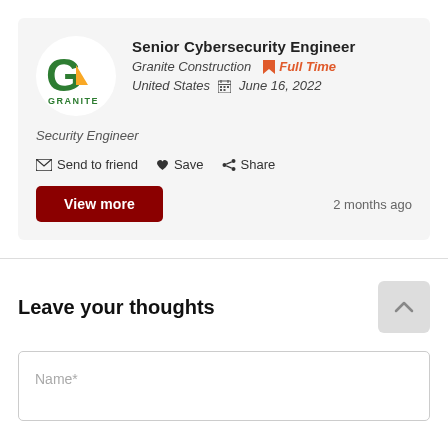Senior Cybersecurity Engineer
Granite Construction   Full Time
United States   June 16, 2022
Security Engineer
Send to friend  Save  Share
View more
2 months ago
Leave your thoughts
Name*